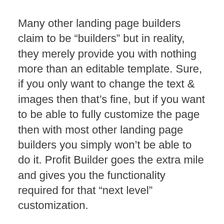Many other landing page builders claim to be “builders” but in reality, they merely provide you with nothing more than an editable template. Sure, if you only want to change the text & images then that’s fine, but if you want to be able to fully customize the page then with most other landing page builders you simply won’t be able to do it. Profit Builder goes the extra mile and gives you the functionality required for that “next level” customization.
Whilst you can add custom code to the pages created within Profit Builder you can similarly create fully functional pages